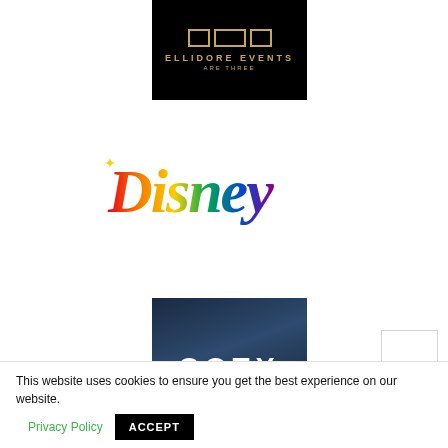[Figure (logo): Ellidore Events Are Three logo — black background, gold geometric icon with three rectangles, gold text 'ELLIDORE EVENTS' and 'ARE THREE']
[Figure (logo): Disney logo in rainbow gradient colors — classic Disney script wordmark]
[Figure (logo): Coty logo — dark navy blue gradient background with white bold uppercase 'COTY' text]
This website uses cookies to ensure you get the best experience on our website.   Privacy Policy   ACCEPT